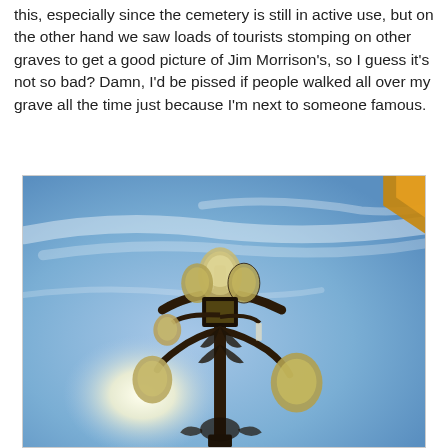this, especially since the cemetery is still in active use, but on the other hand we saw loads of tourists stomping on other graves to get a good picture of Jim Morrison's, so I guess it's not so bad? Damn, I'd be pissed if people walked all over my grave all the time just because I'm next to someone famous.
[Figure (photo): Photograph taken from below of an ornate black iron multi-globe street lamp post against a blue sky with wispy clouds. The lamp has several decorative glass globe lanterns at various heights on curving arms with leaf and scroll ornamentation. A triangular orange/gold chevron shape is partially visible in the upper right corner.]